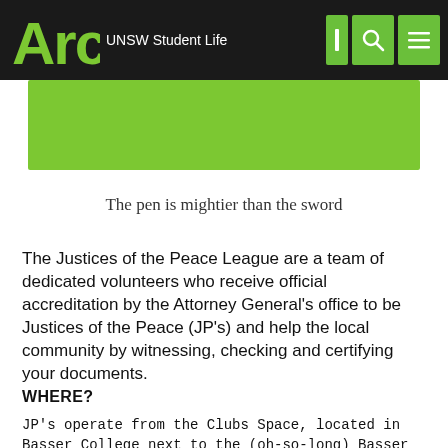Arc UNSW Student Life
[Figure (other): Green banner background image area]
The pen is mightier than the sword
The Justices of the Peace League are a team of dedicated volunteers who receive official accreditation by the Attorney General's office to be Justices of the Peace (JP's) and help the local community by witnessing, checking and certifying your documents.
WHERE?
JP's operate from the Clubs Space, located in Basser College next to the (oh-so-long) Basser Steps, or take the lift to Level 2.